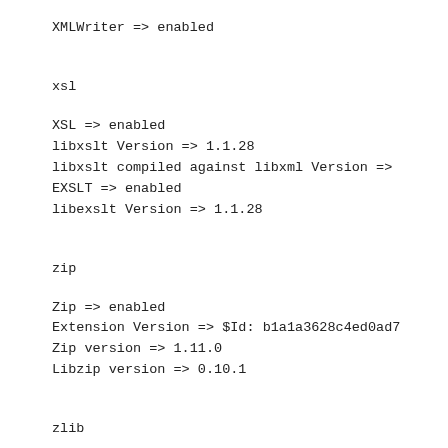XMLWriter => enabled
xsl
XSL => enabled
libxslt Version => 1.1.28
libxslt compiled against libxml Version =>
EXSLT => enabled
libexslt Version => 1.1.28
zip
Zip => enabled
Extension Version => $Id: b1a1a3628c4ed0ad7
Zip version => 1.11.0
Libzip version => 0.10.1
zlib